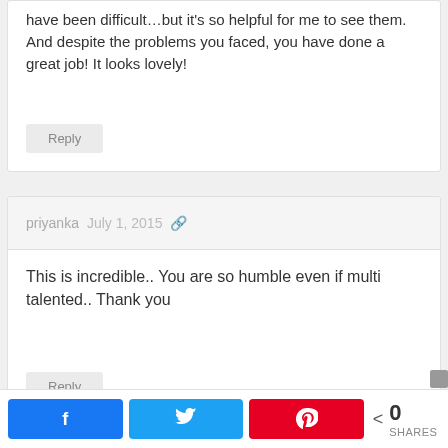photos throughout the decorating period must have been difficult…but it's so helpful for me to see them. And despite the problems you faced, you have done a great job! It looks lovely!
Reply
priyanka  July 1, 2015
This is incredible.. You are so humble even if multi talented.. Thank you
Reply